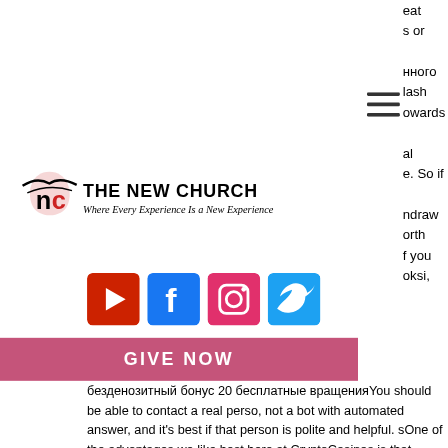eat
s or
нного
lash
owards
al
e. So if
draw
orth
f you
oksi,
[Figure (other): Hamburger menu icon (three horizontal lines)]
[Figure (logo): The New Church logo with bird/flame icon and text 'THE NEW CHURCH — Where Every Experience Is a New Experience']
[Figure (other): Social media icons: YouTube, Facebook, Instagram, Twitter]
GIVE NOW
безденозитный бонус 20 бесплатные вращенияYou should be able to contact a real perso, not a bot with automated answer, and it's best if that person is polite and helpful. sOne of the advantages we like best here at CryptoCasinos is that virtual currencies such as Bitcoin are decentralized. Franchises companies like Microsoft and Dell...